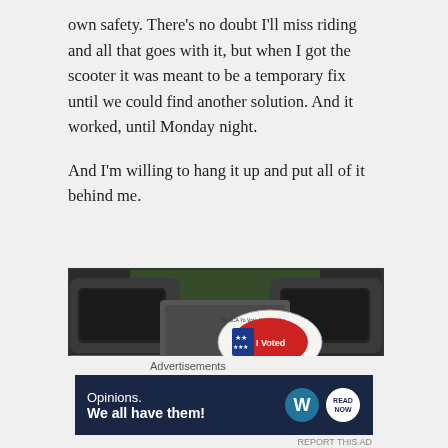own safety. There's no doubt I'll miss riding and all that goes with it, but when I got the scooter it was meant to be a temporary fix until we could find another solution. And it worked, until Monday night.
And I'm willing to hang it up and put all of it behind me.
[Figure (photo): Close-up photo of a scooter dashboard/handlebar area with two 'I Voted' stickers visible, one showing stars and the text 'I Voted' with multilingual text 'Bumoto Ako Tôi Đã Bầu', set against a dark metallic surface with green background.]
Advertisements
[Figure (screenshot): Advertisement banner with dark navy background reading 'Opinions. We all have them!' with WordPress logo and a 'Read Now' button icon.]